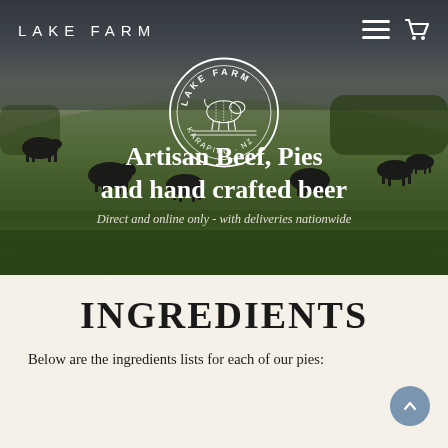LAKE FARM
[Figure (photo): Aerial/wide-angle photo of a green New Zealand farm field with black cattle grazing under a dramatic cloudy sky. A circular Lake Farm Karapiro NZ badge/logo is overlaid in the centre.]
Artisan Beef, Pies and hand crafted beer
Direct and online only - with deliveries nationwide
INGREDIENTS
Below are the ingredients lists for each of our pies: